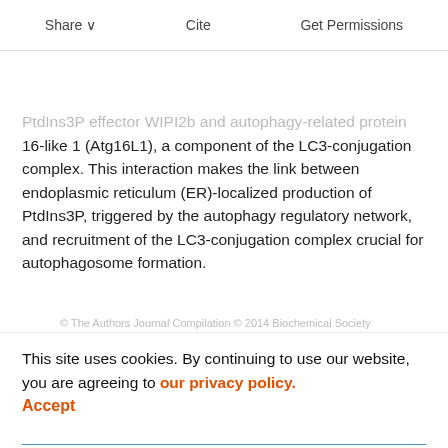Share  Cite  Get Permissions
enzymes. The present review describes recent progress and discovery of the direct interaction between PtdIns3P effector WIPI2b and autophagy-related protein 16-like 1 (Atg16L1), a component of the LC3-conjugation complex. This interaction makes the link between endoplasmic reticulum (ER)-localized production of PtdIns3P, triggered by the autophagy regulatory network, and recruitment of the LC3-conjugation complex crucial for autophagosome formation.
Keywords: autophagosome, autophagy, Atg12-5-16, LC3 conjugation, phosphatidylinositol 3-phosphate, WIPI2
This site uses cookies. By continuing to use our website, you are agreeing to our privacy policy. Accept
© The Authors Journal Compilation © 2014 Biochemical Society